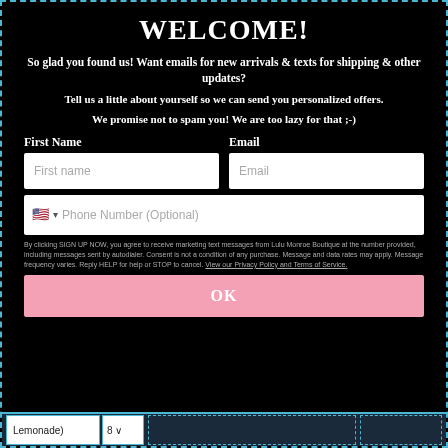WELCOME!
So glad you found us! Want emails for new arrivals & texts for shipping & other updates?
Tell us a little about yourself so we can send you personalized offers.
We promise not to spam you! We are too lazy for that ;-)
First Name [field] Email [field]
Phone Number (Optional) [field]
By clicking SIGN UP NOW, you agree to receive marketing text messages from Lulu Monroe Boutique at the number provided, including messages sent by autodialer. Consent is not a condition of any purchase. Message and data rates may apply. Message frequency varies. Reply HELP for help or STOP to cancel. View our Privacy Policy and Terms of Service.
OK